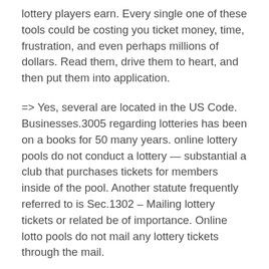lottery players earn. Every single one of these tools could be costing you ticket money, time, frustration, and even perhaps millions of dollars. Read them, drive them to heart, and then put them into application.
=> Yes, several are located in the US Code. Businesses.3005 regarding lotteries has been on a books for 50 many years. online lottery pools do not conduct a lottery — substantial a club that purchases tickets for members inside of the pool. Another statute frequently referred to is Sec.1302 – Mailing lottery tickets or related be of importance. Online lotto pools do not mail any lottery tickets through the mail.
I am not an oversized fan of, nor will i ever recommend that you spend some money on, 'scratch-off' style games. lottery odds are bad enough it's just that since you dig deep in the chances and payout figures on scratch off